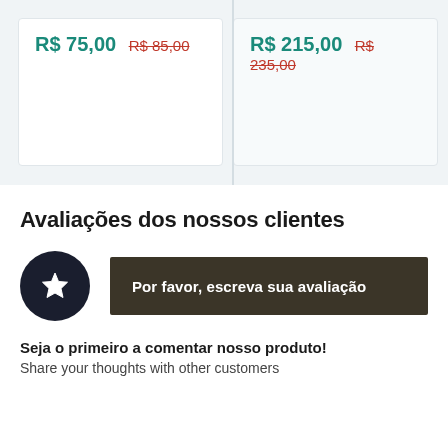R$ 75,00  R$ 85,00
R$ 215,00  R$ 235,00
Avaliações dos nossos clientes
[Figure (illustration): Dark circle with a star icon inside]
Por favor, escreva sua avaliação
Seja o primeiro a comentar nosso produto!
Share your thoughts with other customers